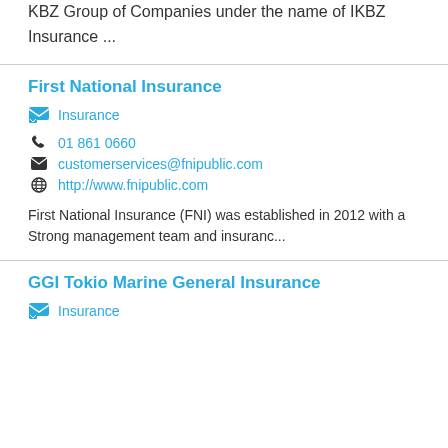Established in September 2012 as part of KBZ Group of Companies under the name of IKBZ Insurance ...
First National Insurance
Insurance
01 861 0660
customerservices@fnipublic.com
http://www.fnipublic.com
First National Insurance (FNI) was established in 2012 with a Strong management team and insuranc...
GGI Tokio Marine General Insurance
Insurance